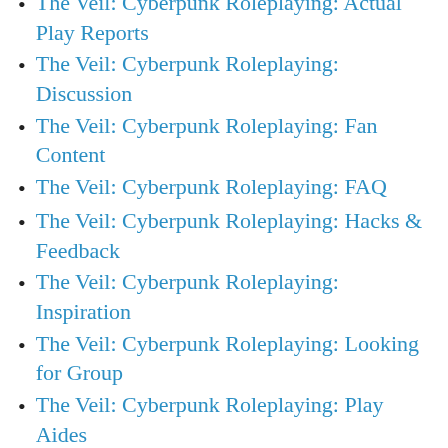The Veil: Cyberpunk Roleplaying: Actual Play Reports
The Veil: Cyberpunk Roleplaying: Discussion
The Veil: Cyberpunk Roleplaying: Fan Content
The Veil: Cyberpunk Roleplaying: FAQ
The Veil: Cyberpunk Roleplaying: Hacks & Feedback
The Veil: Cyberpunk Roleplaying: Inspiration
The Veil: Cyberpunk Roleplaying: Looking for Group
The Veil: Cyberpunk Roleplaying: Play Aides
The Veil: Cyberpunk Roleplaying: Playbook Focused Discussion